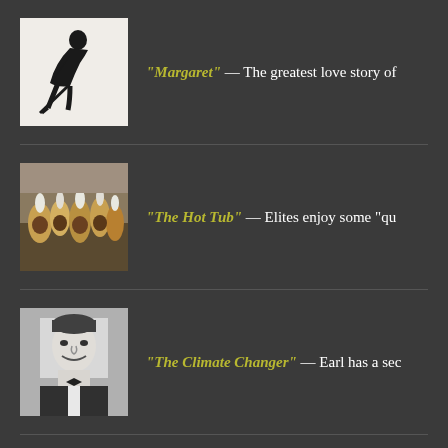[Figure (illustration): Black and white silhouette of a hunched figure with a cane]
“Margaret” — The greatest love story of
[Figure (photo): Photo of a crowd of people with feathered headdresses]
“The Hot Tub” — Elites enjoy some “qu
[Figure (photo): Black and white photo of a smiling man in a tuxedo]
“The Climate Changer” — Earl has a sec
[Figure (photo): Partial photo at bottom, colorful image cropped]